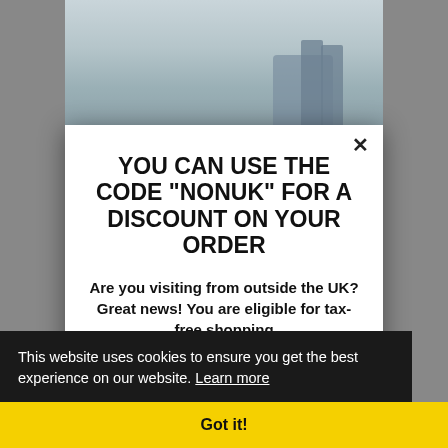[Figure (photo): Background showing a person on a beach, partially visible behind the modal popup dialog]
YOU CAN USE THE CODE "NONUK" FOR A DISCOUNT ON YOUR ORDER
Are you visiting from outside the UK? Great news! You are eligible for tax-free shopping
For more information regarding pricing and
This website uses cookies to ensure you get the best experience on our website. Learn more
Got it!